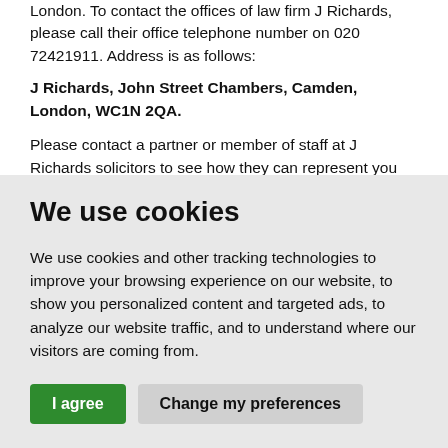London. To contact the offices of law firm J Richards, please call their office telephone number on 020 72421911. Address is as follows:
J Richards, John Street Chambers, Camden, London, WC1N 2QA.
Please contact a partner or member of staff at J Richards solicitors to see how they can represent you for your legal case, or for any aspect of law that this solicitor
We use cookies
We use cookies and other tracking technologies to improve your browsing experience on our website, to show you personalized content and targeted ads, to analyze our website traffic, and to understand where our visitors are coming from.
I agree   Change my preferences